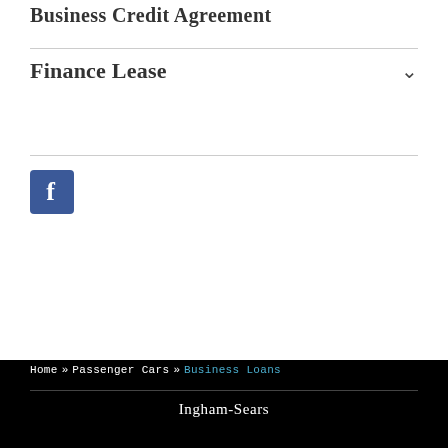Business Credit Agreement
Finance Lease
[Figure (logo): Facebook logo icon — blue square with white letter f]
Home » Passenger Cars » Business Loans
Ingham-Sears